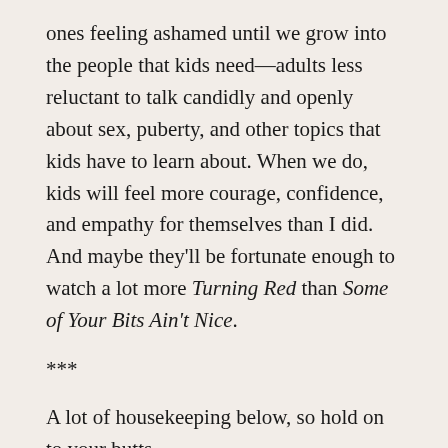ones feeling ashamed until we grow into the people that kids need—adults less reluctant to talk candidly and openly about sex, puberty, and other topics that kids have to learn about. When we do, kids will feel more courage, confidence, and empathy for themselves than I did. And maybe they'll be fortunate enough to watch a lot more Turning Red than Some of Your Bits Ain't Nice.
***
A lot of housekeeping below, so hold on to your butts.
First, sorry I missed writing Humans Being last